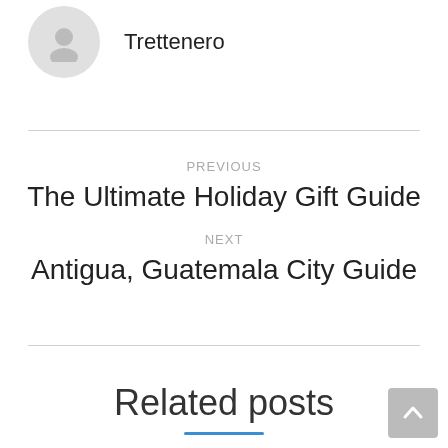[Figure (illustration): Default user avatar circle with person icon]
Trettenero
PREVIOUS
The Ultimate Holiday Gift Guide
NEXT
Antigua, Guatemala City Guide
Related posts